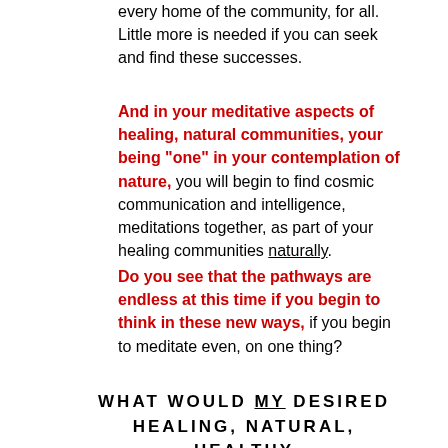every home of the community, for all. Little more is needed if you can seek and find these successes.
And in your meditative aspects of healing, natural communities, your being "one" in your contemplation of nature, you will begin to find cosmic communication and intelligence, meditations together, as part of your healing communities naturally.
Do you see that the pathways are endless at this time if you begin to think in these new ways, if you begin to meditate even, on one thing?
WHAT WOULD MY DESIRED HEALING, NATURAL, HEALTHY